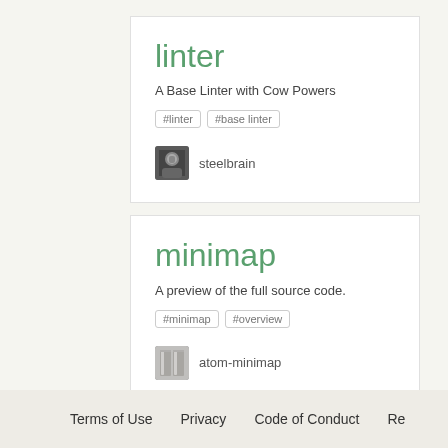linter
A Base Linter with Cow Powers
#linter  #base linter
steelbrain
minimap
A preview of the full source code.
#minimap  #overview
atom-minimap
Terms of Use   Privacy   Code of Conduct   Re...